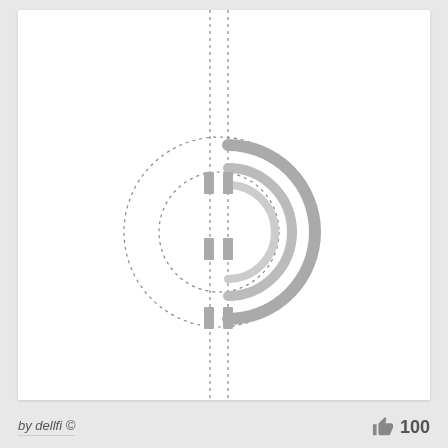[Figure (engineering-diagram): Abstract geometric diagram showing two vertical dashed lines intersecting concentric half-circles and dotted circles, with rectangular segments/blocks along the vertical lines. The right side shows solid gray concentric semicircles and the left side shows dotted circle arcs, forming a stylized schematic or logo design.]
by dellfi ©
100